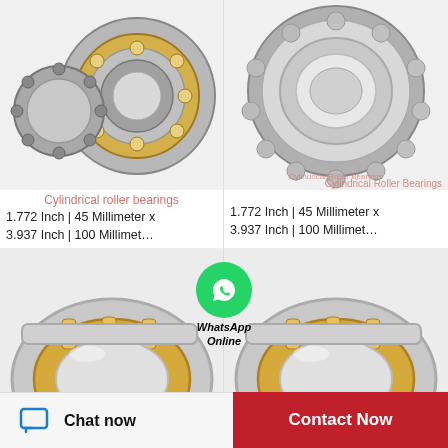[Figure (photo): Cylindrical roller bearing components shown disassembled - silver/gray inner ring with rollers and gold/brass cage, top-left quadrant]
Cylindrical roller bearings
1.772 Inch | 45 Millimeter x 3.937 Inch | 100 Millimet…
[Figure (photo): Cylindrical roller bearing shown disassembled - silver/gray rings with roller elements visible, top-right quadrant. Watermark: Cylindrical Roller Bearings]
Cylindrical Roller Bearings
1.772 Inch | 45 Millimeter x 3.937 Inch | 100 Millimet…
[Figure (photo): Close-up of cylindrical roller bearing with gold/brass cage, bottom-left quadrant, cropped]
[Figure (photo): Close-up of cylindrical roller bearing with gold/brass cage, bottom-right quadrant, cropped]
[Figure (infographic): WhatsApp Online badge overlay with green circle and phone icon]
Chat now
Contact Now